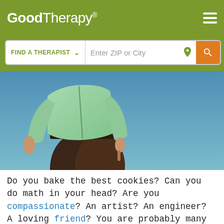GoodTherapy®
[Figure (screenshot): Search bar with 'FIND A THERAPIST' dropdown and 'Enter ZIP or City' input with location icon and orange search button]
[Figure (photo): Person in green jacket and dark pants viewed from below against a blue sky background]
Do you bake the best cookies? Can you do math in your head? Are you compassionate? An artist? An engineer? A loving friend? You are probably many wonderful things, some of which you only sheepishly share.
GoodTherapy uses cookies to personalize content and ads to provide better services for our users and to analyze our traffic. By continuing to use this site you consent to our cookies.